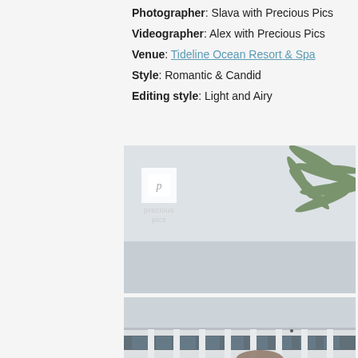Photographer: Slava with Precious Pics
Videographer: Alex with Precious Pics
Venue: Tideline Ocean Resort & Spa
Style: Romantic & Candid
Editing style: Light and Airy
[Figure (photo): Sky and palm fronds with Precious Pics watermark logo overlay, light airy outdoor venue photo]
[Figure (photo): Hotel building exterior with balconies featuring glass railings and white columns, with a partial view of a person at the bottom]